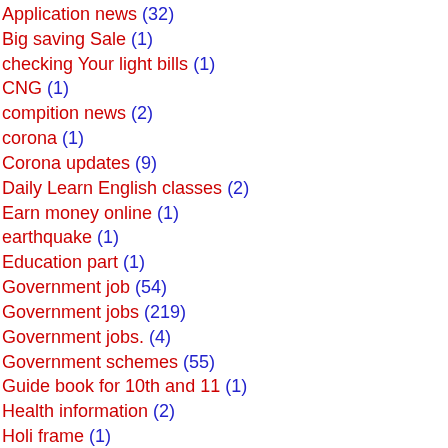Application news (32)
Big saving Sale (1)
checking Your light bills (1)
CNG (1)
compition news (2)
corona (1)
Corona updates (9)
Daily Learn English classes (2)
Earn money online (1)
earthquake (1)
Education part (1)
Government job (54)
Government jobs (219)
Government jobs. (4)
Government schemes (55)
Guide book for 10th and 11 (1)
Health information (2)
Holi frame (1)
Home Remedies (2)